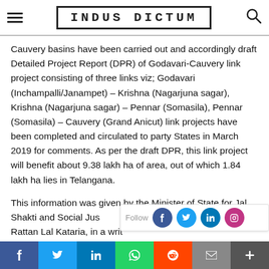INDUS DICTUM
Cauvery basins have been carried out and accordingly draft Detailed Project Report (DPR) of Godavari-Cauvery link project consisting of three links viz; Godavari (Inchampalli/Janampet) – Krishna (Nagarjuna sagar), Krishna (Nagarjuna sagar) – Pennar (Somasila), Pennar (Somasila) – Cauvery (Grand Anicut) link projects have been completed and circulated to party States in March 2019 for comments. As per the draft DPR, this link project will benefit about 9.38 lakh ha of area, out of which 1.84 lakh ha lies in Telangana.
This information was given by the Minister of State for Jal Shakti and Social Jus… Rattan Lal Kataria, in a writ…